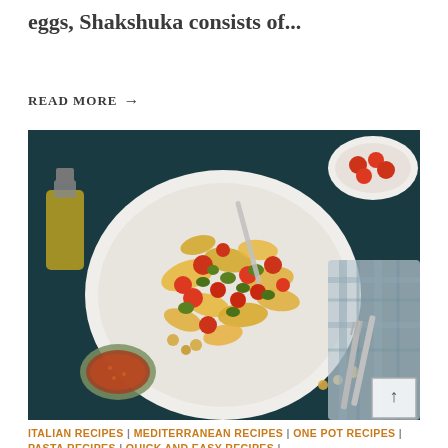eggs, Shakshuka consists of...
READ MORE →
[Figure (photo): Overhead flat-lay photo of a white plate of pasta (farfalle/shell pasta) with cherry tomatoes, olives, chickpeas, and sauce, on a dark teal background with olive oil bottle, spices bowl, fork, and checkered cloth nearby.]
ITALIAN RECIPES | MEDITERRANEAN RECIPES | ONE POT RECIPES | PASTA RECIPES | QUICK AND EASY RECIPES | RECIPES